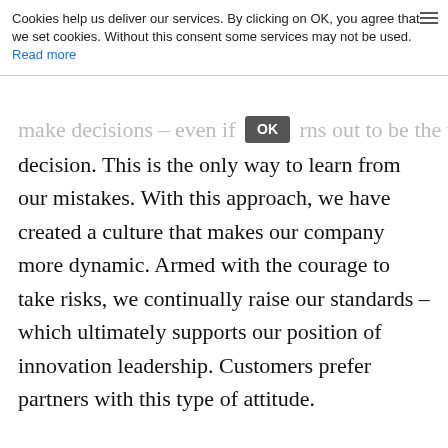Cookies help us deliver our services. By clicking on OK, you agree that we set cookies. Without this consent some services may not be used. Read more
make decisions – even if [OK] turns out to be the wrong decision. This is the only way to learn from our mistakes. With this approach, we have created a culture that makes our company more dynamic. Armed with the courage to take risks, we continually raise our standards – which ultimately supports our position of innovation leadership. Customers prefer partners with this type of attitude.
How important is trust?
Thomas Borst: Everything depends on trust! Without trust in the abilities of our teams and the individuals on them, we would not be able to triumph over difficult phases, for example.